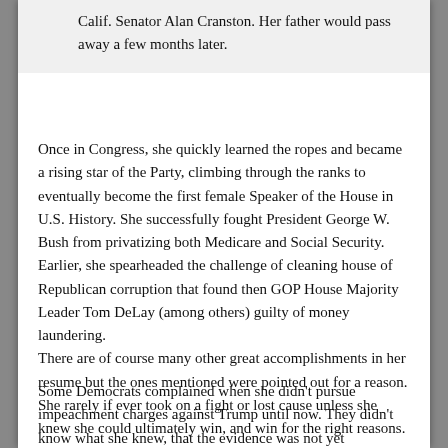Calif. Senator Alan Cranston. Her father would pass away a few months later.
Once in Congress, she quickly learned the ropes and became a rising star of the Party, climbing through the ranks to eventually become the first female Speaker of the House in U.S. History. She successfully fought President George W. Bush from privatizing both Medicare and Social Security. Earlier, she spearheaded the challenge of cleaning house of Republican corruption that found then GOP House Majority Leader Tom DeLay (among others) guilty of money laundering. There are of course many other great accomplishments in her resume but the ones mentioned were pointed out for a reason. She rarely if ever took on a fight or lost cause unless she knew she could ultimately win, and win for the right reasons.
Some Democrats complained when she didn't pursue impeachment charges against Trump until now. They didn't know what she knew, that the evidence was not yet...